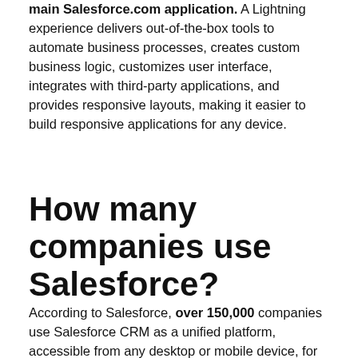main Salesforce.com application. A Lightning experience delivers out-of-the-box tools to automate business processes, creates custom business logic, customizes user interface, integrates with third-party applications, and provides responsive layouts, making it easier to build responsive applications for any device.
How many companies use Salesforce?
According to Salesforce, over 150,000 companies use Salesforce CRM as a unified platform, accessible from any desktop or mobile device, for better data management